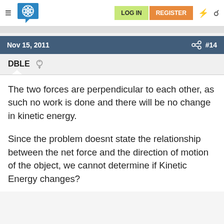LOG IN  REGISTER
Nov 15, 2011  #14
DBLE
The two forces are perpendicular to each other, as such no work is done and there will be no change in kinetic energy.
Since the problem doesnt state the relationship between the net force and the direction of motion of the object, we cannot determine if Kinetic Energy changes?